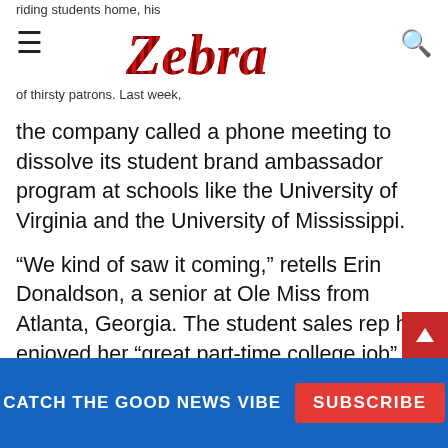Zebra — [navigation header with hamburger menu and search icon]
the company called a phone meeting to dissolve its student brand ambassador program at schools like the University of Virginia and the University of Mississippi.
“We kind of saw it coming,” retells Erin Donaldson, a senior at Ole Miss from Atlanta, Georgia. The student sales rep had enjoyed her “great part-time college job” hawking spiked seltzer and had zero expectations of her employer. “We were such a teeny portion of a big national brand,” she adds. So when the meeting ended with an extra week of pay and free company swag, the journalism major walked away knowing what it was to lose a job – and to be treated well by an employer.
CATCH THE GOOD NEWS VIBE  SUBSCRIBE